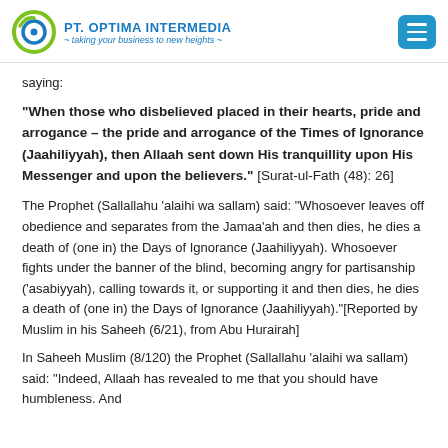PT. OPTIMA INTERMEDIA ~ taking your business to new heights ~
saying:
“When those who disbelieved placed in their hearts, pride and arrogance – the pride and arrogance of the Times of Ignorance (Jaahiliyyah), then Allaah sent down His tranquillity upon His Messenger and upon the believers.” [Surat-ul-Fath (48): 26]
The Prophet (Sallallahu ‘alaihi wa sallam) said: “Whosoever leaves off obedience and separates from the Jamaa’ah and then dies, he dies a death of (one in) the Days of Ignorance (Jaahiliyyah). Whosoever fights under the banner of the blind, becoming angry for partisanship (‘asabiyyah), calling towards it, or supporting it and then dies, he dies a death of (one in) the Days of Ignorance (Jaahiliyyah).”[Reported by Muslim in his Saheeh (6/21), from Abu Hurairah]
In Saheeh Muslim (8/120) the Prophet (Sallallahu ‘alaihi wa sallam) said: “Indeed, Allaah has revealed to me that you should have humbleness. And